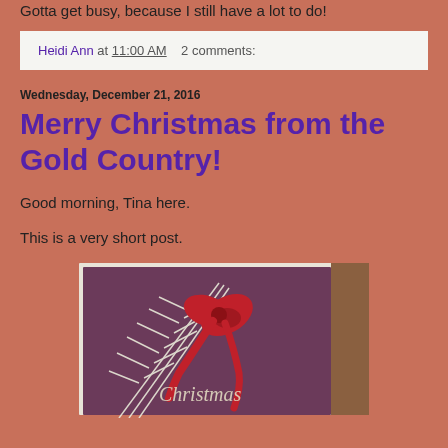Gotta get busy, because I still have a lot to do!
Heidi Ann at 11:00 AM   2 comments:
Wednesday, December 21, 2016
Merry Christmas from the Gold Country!
Good morning, Tina here.
This is a very short post.
[Figure (illustration): A vintage Christmas card with a dark purple/maroon background showing white pine branches and a large red bow/poinsettia, with cursive text reading 'Christmas']